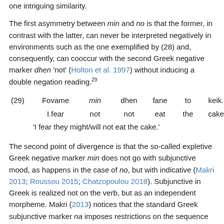one intriguing similarity.
The first asymmetry between min and no is that the former, in contrast with the latter, can never be interpreted negatively in environments such as the one exemplified by (28) and, consequently, can cooccur with the second Greek negative marker dhen 'not' (Holton et al. 1997) without inducing a double negation reading.29
(29) Fovame min dhen fane to keik.
      I.fear not not eat the cake
      'I fear they might/will not eat the cake.'
The second point of divergence is that the so-called expletive Greek negative marker min does not go with subjunctive mood, as happens in the case of no, but with indicative (Makri 2013; Roussou 2015; Chatzopoulou 2018). Subjunctive in Greek is realized not on the verb, but as an independent morpheme. Makri (2013) notices that the standard Greek subjunctive marker na imposes restrictions on the sequence of grammatical tenses in the matrix and the subordinate clause, whereas min grants